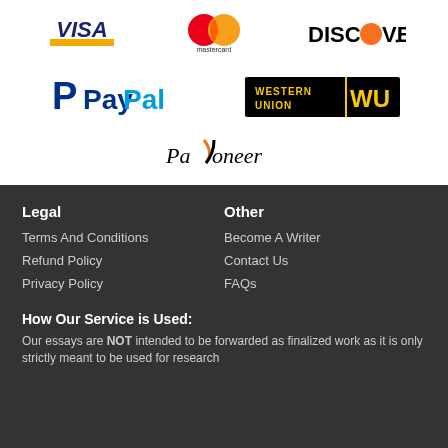[Figure (logo): Visa logo - blue text on white with yellow bar]
[Figure (logo): Mastercard logo - overlapping red and orange circles]
[Figure (logo): Discover logo - black text with orange dot]
[Figure (logo): PayPal logo - blue P icon with PayPal text]
[Figure (logo): Western Union WU logo - yellow text on black background]
[Figure (logo): Payoneer logo - black and orange text]
Legal
Other
Terms And Conditions
Become A Writer
Refund Policy
Contact Us
Privacy Policy
FAQs
How Our Service is Used:
Our essays are NOT intended to be forwarded as finalized work as it is only strictly meant to be used for research